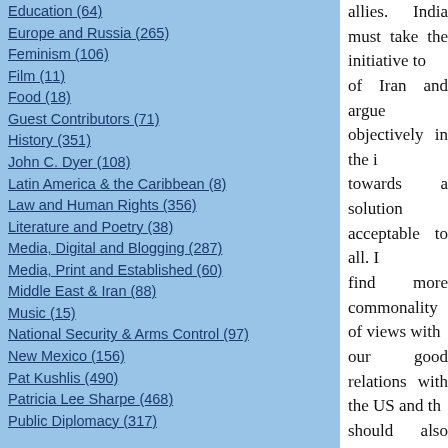Education (64)
Europe and Russia (265)
Feminism (106)
Film (11)
Food (18)
Guest Contributors (71)
History (351)
John C. Dyer (108)
Latin America & the Caribbean (8)
Law and Human Rights (356)
Literature and Poetry (38)
Media, Digital and Blogging (287)
Media, Print and Established (60)
Middle East & Iran (88)
Music (15)
National Security & Arms Control (97)
New Mexico (156)
Pat Kushlis (490)
Patricia Lee Sharpe (468)
Public Diplomacy (317)
allies. India must take the initiative to... of Iran and argue objectively in the i... towards a solution acceptable to all. I... find more commonality of views with... our good relations with the US and th... should also help us in trying to dissua... hard-line thinking. Let us hope that th... seizes this opportunity to productively... the international community in this iss...
(I received the article from him by e-mail a... links.)
Bush’s speech lists many areas for partners... any nation would refuse cooperation in de... diseases or improved trade. It may be harde... on terrorism” on Bush’s terms, and any ... about being held too tightly by a partner.
The Nuclear Suppliers’ Group is skeptical.... matter on their next meeting agenda, in Rio...